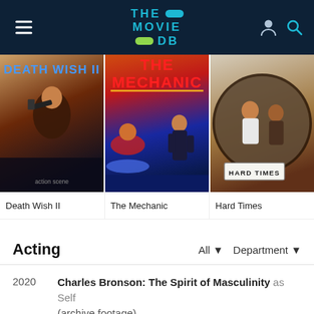THE MOVIE DB
[Figure (illustration): Movie poster for Death Wish II showing a man holding a gun with action imagery]
Death Wish II
[Figure (illustration): Movie poster for The Mechanic showing a man in black with motorcycle chase action scenes]
The Mechanic
[Figure (illustration): Movie poster for Hard Times showing two men in a circular frame with the title at the bottom]
Hard Times
Acting
2020  Charles Bronson: The Spirit of Masculinity as Self (archive footage)